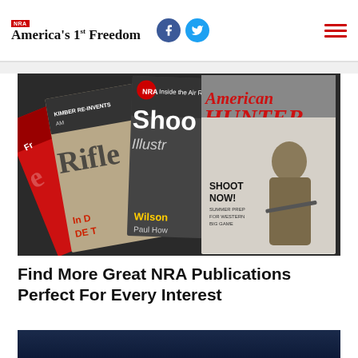NRA America's 1st Freedom
[Figure (photo): Fan of NRA magazine covers: Rifle, Shooting Illustrated (NRA), American Hunter (SHOOT NOW! SUMMER PREP FOR WESTERN BIG GAME), and Freedom magazines fanned out on a dark background]
Find More Great NRA Publications Perfect For Every Interest
[Figure (photo): Bottom partial strip of a dark blue image, partially visible]